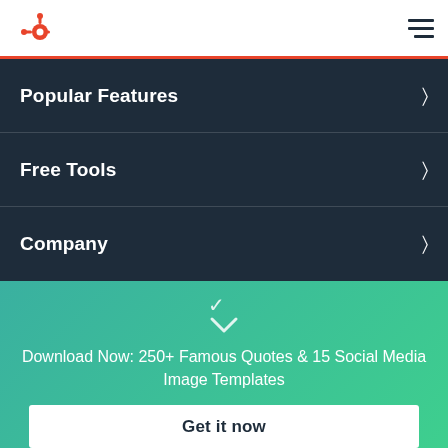HubSpot logo and navigation menu toggle
Popular Features
Free Tools
Company
Download Now: 250+ Famous Quotes & 15 Social Media Image Templates
Get it now